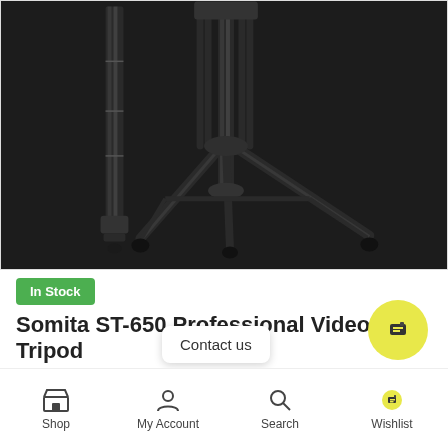[Figure (photo): Black professional video tripod shown in two positions: collapsed/closed on the left and fully extended/open on the right, against a dark background.]
In Stock
Somita ST-650 Professional Video Tripod
Rs75,000.00
Contact us
Shop  My Account  Search  Wishlist